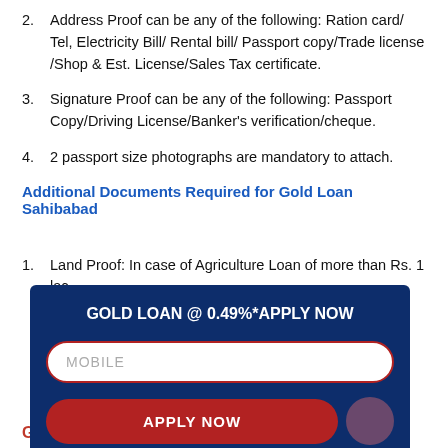2. Address Proof can be any of the following: Ration card/ Tel, Electricity Bill/ Rental bill/ Passport copy/Trade license /Shop & Est. License/Sales Tax certificate.
3. Signature Proof can be any of the following: Passport Copy/Driving License/Banker's verification/cheque.
4. 2 passport size photographs are mandatory to attach.
Additional Documents Required for Gold Loan Sahibabad
1. Land Proof: In case of Agriculture Loan of more than Rs. 1 lac.
[Figure (infographic): Dark blue popup overlay with text 'GOLD LOAN @ 0.49%*APPLY NOW', a mobile input field with placeholder 'MOBILE', and a red 'APPLY NOW' button with a pink circle element.]